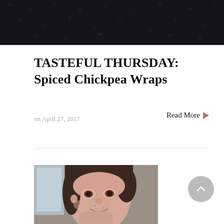[Figure (photo): Top banner image with dark textured background, cropped photo]
TASTEFUL THURSDAY: Spiced Chickpea Wraps
on April 27, 2017
Read More ▶
[Figure (photo): Portrait photo of a young woman with dark hair, smiling, looking to the left]